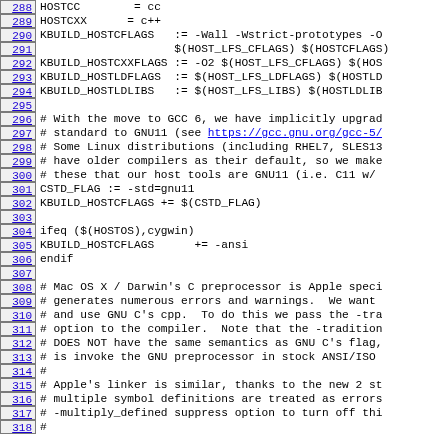Source code listing lines 288-318, Linux kernel Makefile with host compiler flags and compatibility comments
288: HOSTCC       = cc
289: HOSTCXX      = c++
290: KBUILD_HOSTCFLAGS   := -Wall -Wstrict-prototypes -O...
291:                         $(HOST_LFS_CFLAGS) $(HOSTCFLAGS)
292: KBUILD_HOSTCXXFLAGS := -O2 $(HOST_LFS_CFLAGS) $(HOS...
293: KBUILD_HOSTLDFLAGS  := $(HOST_LFS_LDFLAGS) $(HOSTLD...
294: KBUILD_HOSTLDLIBS   := $(HOST_LFS_LIBS) $(HOSTLDLIB...
295: (blank)
296: # With the move to GCC 6, we have implicitly upgrad...
297: # standard to GNU11 (see https://gcc.gnu.org/gcc-5/...
298: # Some Linux distributions (including RHEL7, SLES13...
299: # have older compilers as their default, so we make...
300: # these that our host tools are GNU11 (i.e. C11 w/...
301: CSTD_FLAG := -std=gnu11
302: KBUILD_HOSTCFLAGS += $(CSTD_FLAG)
303: (blank)
304: ifeq ($(HOSTOS),cygwin)
305: KBUILD_HOSTCFLAGS      += -ansi
306: endif
307: (blank)
308: # Mac OS X / Darwin's C preprocessor is Apple speci...
309: # generates numerous errors and warnings.  We want...
310: # and use GNU C's cpp.  To do this we pass the -tra...
311: # option to the compiler.  Note that the -tradition...
312: # DOES NOT have the same semantics as GNU C's flag,...
313: # is invoke the GNU preprocessor in stock ANSI/ISO...
314: #
315: # Apple's linker is similar, thanks to the new 2 st...
316: # multiple symbol definitions are treated as errors...
317: # -multiply_defined suppress option to turn off thi...
318: #